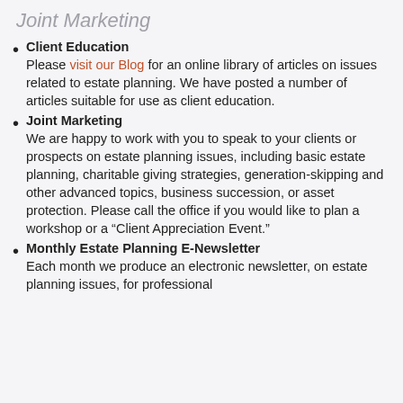Joint Marketing
Client Education
Please visit our Blog for an online library of articles on issues related to estate planning. We have posted a number of articles suitable for use as client education.
Joint Marketing
We are happy to work with you to speak to your clients or prospects on estate planning issues, including basic estate planning, charitable giving strategies, generation-skipping and other advanced topics, business succession, or asset protection. Please call the office if you would like to plan a workshop or a “Client Appreciation Event.”
Monthly Estate Planning E-Newsletter
Each month we produce an electronic newsletter, on estate planning issues, for professional advisors like yourself. You are automatically on our distribution list.